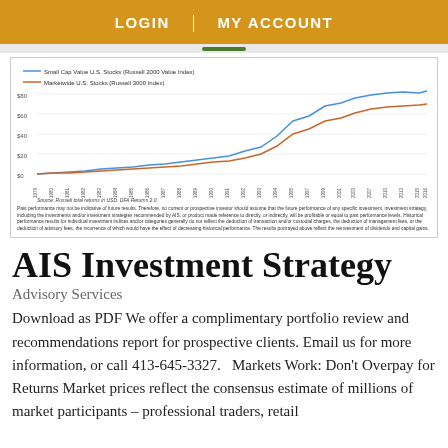LOGIN | MY ACCOUNT
[Figure (line-chart): Line chart showing growth of $10 in Small Cap Value US Stocks vs Marketwide US Stocks from approximately 1979 to 2016. Small Cap Value reaches ~$80, Marketwide reaches ~$65.]
Source: Russell total returns in USD. DFA Returns 2.0. Past performance may not be indicative of future results. Therefore, no current or prospective investor should assume that the future performance of any specific investment, investment strategy, including the investments and/or investment strategies recommended by AIS, or product made reference to directly, or indirectly, will be profitable or equal to past performance levels. Historical performance results for individual investment indices and/or categories generally do not reflect the deduction of transaction and/or custodial charges, the deduction of management fees, or the deduction of advisory fees, the incurrence of which would have the effect of decreasing historical performance. The results portrayed above reflect the reinvestment of dividends and capital gains.
AIS Investment Strategy
Advisory Services
Download as PDF We offer a complimentary portfolio review and recommendations report for prospective clients. Email us for more information, or call 413-645-3327.  Markets Work: Don't Overpay for Returns Market prices reflect the consensus estimate of millions of market participants – professional traders, retail